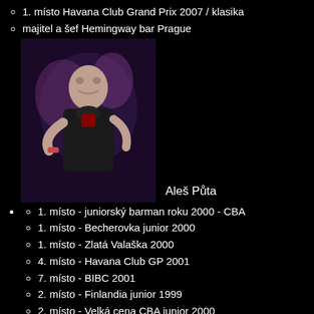1. místo Havana Club Grand Prix 2007 / klasika
majitel a šef Hemingway bar Prague
[Figure (photo): Photo of Aleš Půta - a man in dark clothing, performing or speaking on stage with purple/blue background lighting]
Aleš Půta
1. místo - juniorský barman roku 2000 - CBA
1. místo - Becherovka junior 2000
1. místo - Zlatá Valaška 2000
4. místo - Havana Club GP 2001
7. místo - BIBC 2001
2. místo - Finlandia junior 1999
2. místo - Velká cena CBA junior 2000
2. místo - Finlandia junior 2000
2. místo - Finlandia junior Freestyle
3. místo - Becherovka junior 1999
6. místo - Bacardi Martini GP 2000 a 2001
majitel a šéf Fenix Drinks
bar manager Bugsy's bar Prague
[Figure (photo): Partial photo of a person, dark/grayscale image, only upper portion visible]